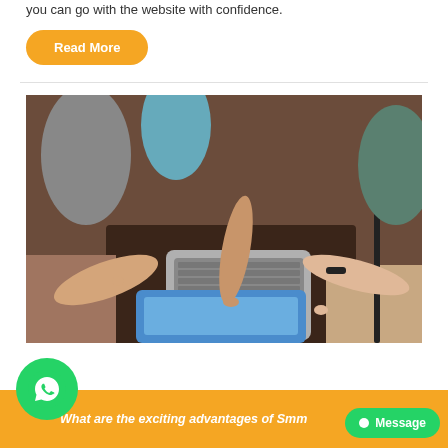you can go with the website with confidence.
Read More
[Figure (photo): Overhead view of three people sitting around a table, all pointing at a laptop and tablet on the table below them.]
What are the exciting advantages of Smm